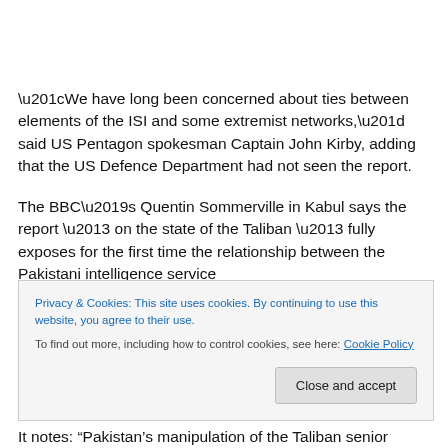“We have long been concerned about ties between elements of the ISI and some extremist networks,” said US Pentagon spokesman Captain John Kirby, adding that the US Defence Department had not seen the report.
The BBC’s Quentin Sommerville in Kabul says the report – on the state of the Taliban – fully exposes for the first time the relationship between the Pakistani intelligence service
Privacy & Cookies: This site uses cookies. By continuing to use this website, you agree to their use.
To find out more, including how to control cookies, see here: Cookie Policy
Close and accept
It notes: “Pakistan’s manipulation of the Taliban senior